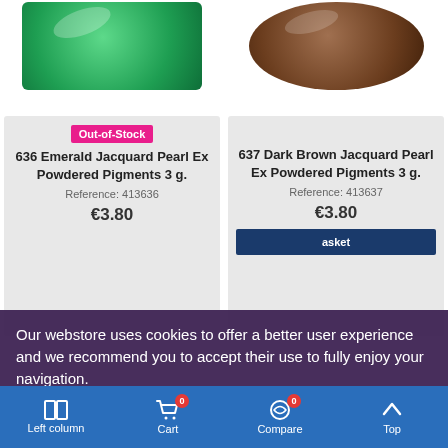[Figure (photo): Top portion of two product images: green emerald pigment jar (left) and dark brown pigment jar (right)]
Out-of-Stock
636 Emerald Jacquard Pearl Ex Powdered Pigments 3 g.
Reference: 413636
€3.80
637 Dark Brown Jacquard Pearl Ex Powdered Pigments 3 g.
Reference: 413637
€3.80
Add to Basket
Our webstore uses cookies to offer a better user experience and we recommend you to accept their use to fully enjoy your navigation.
More information   Customize Cookies
Left column   Cart 0   Compare 0   Top